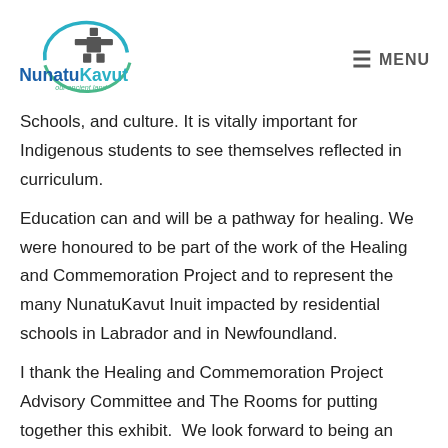NunatuKavut our ancient land | MENU
Schools, and culture. It is vitally important for Indigenous students to see themselves reflected in curriculum.
Education can and will be a pathway for healing. We were honoured to be part of the work of the Healing and Commemoration Project and to represent the many NunatuKavut Inuit impacted by residential schools in Labrador and in Newfoundland.
I thank the Healing and Commemoration Project Advisory Committee and The Rooms for putting together this exhibit.  We look forward to being an integral part of the work that is continuing with this